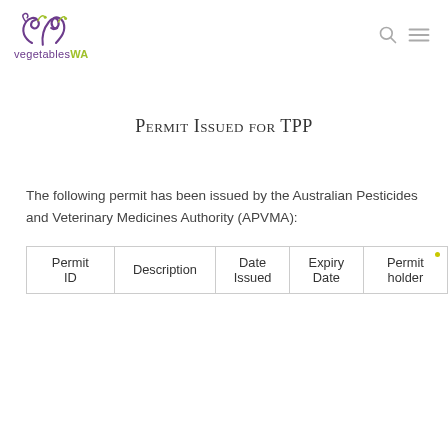vegetablesWA
Permit Issued for TPP
The following permit has been issued by the Australian Pesticides and Veterinary Medicines Authority (APVMA):
| Permit ID | Description | Date Issued | Expiry Date | Permit holder |
| --- | --- | --- | --- | --- |